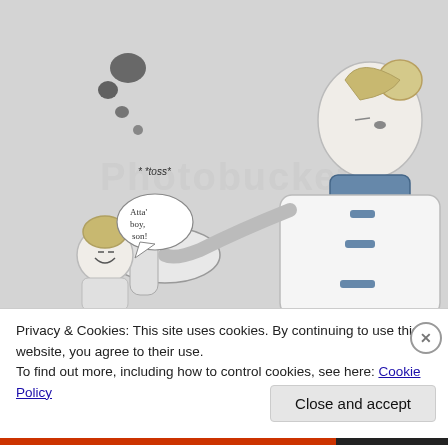[Figure (illustration): Manga-style illustration on grey background. A tall character in Chinese-style robes is tossing small objects (with '*toss*' label) upward. Two speech bubbles read: 'So you two are the heavenly kami looking to take over, huh?' and 'I'd like to challenge you to a test of strength!' A small smiling character in the lower left says 'Atta' boy, son!' A Photobucket watermark overlay is visible.]
Privacy & Cookies: This site uses cookies. By continuing to use this website, you agree to their use.
To find out more, including how to control cookies, see here: Cookie Policy
Close and accept